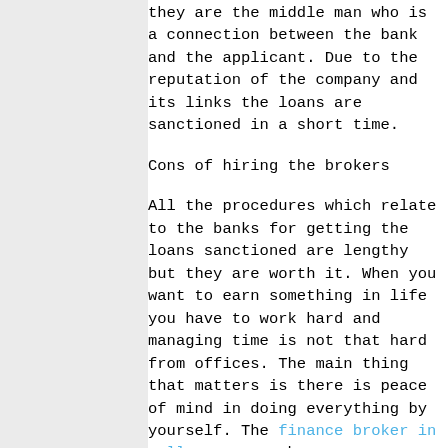they are the middle man who is a connection between the bank and the applicant. Due to the reputation of the company and its links the loans are sanctioned in a short time.
Cons of hiring the brokers
All the procedures which relate to the banks for getting the loans sanctioned are lengthy but they are worth it. When you want to earn something in life you have to work hard and managing time is not that hard from offices. The main thing that matters is there is peace of mind in doing everything by yourself. The finance broker in wollongong may become very expensive firstly people have to pay a heavy fee which is the most important part because no one is that good enough to waste time and petrol to go to the banks. They work for their